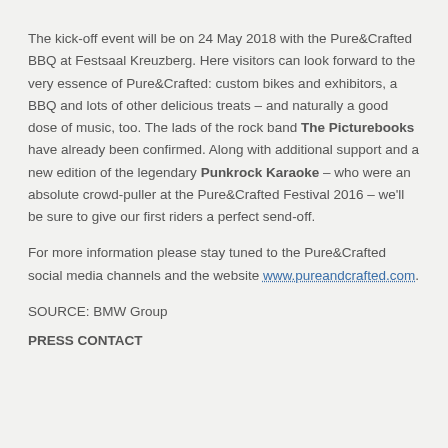The kick-off event will be on 24 May 2018 with the Pure&Crafted BBQ at Festsaal Kreuzberg. Here visitors can look forward to the very essence of Pure&Crafted: custom bikes and exhibitors, a BBQ and lots of other delicious treats – and naturally a good dose of music, too. The lads of the rock band The Picturebooks have already been confirmed. Along with additional support and a new edition of the legendary Punkrock Karaoke – who were an absolute crowd-puller at the Pure&Crafted Festival 2016 – we'll be sure to give our first riders a perfect send-off.
For more information please stay tuned to the Pure&Crafted social media channels and the website www.pureandcrafted.com.
SOURCE: BMW Group
PRESS CONTACT